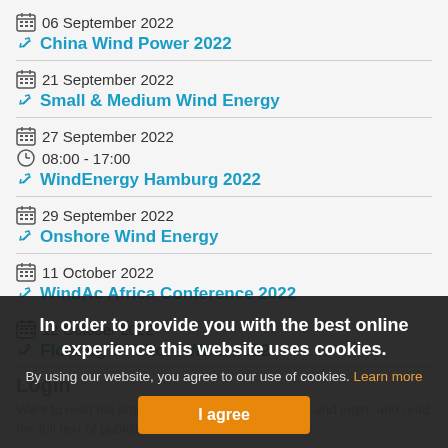06 September 2022 — China Wind Power 2022
21 September 2022 — Small & Medium Wind Energy
27 September 2022, 08:00 - 17:00 — WindEnergy Hamburg 2022
29 September 2022 — Onshore Wind Energy
11 October 2022 — WindAc Africa Conference 2022
12 October 2022 — Floating Offshore Wind 2022
Login
Want to read full articles? Sign up free of charge and login, and read the full text of published articles on our website.
You can use your email address to login
In order to provide you with the best online experience this website uses cookies. By using our website, you agree to our use of cookies. Learn more
I agree